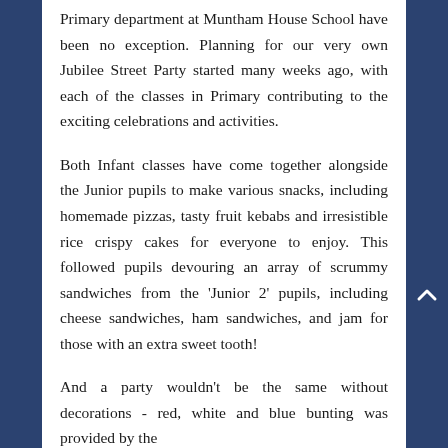Primary department at Muntham House School have been no exception. Planning for our very own Jubilee Street Party started many weeks ago, with each of the classes in Primary contributing to the exciting celebrations and activities.
Both Infant classes have come together alongside the Junior pupils to make various snacks, including homemade pizzas, tasty fruit kebabs and irresistible rice crispy cakes for everyone to enjoy. This followed pupils devouring an array of scrummy sandwiches from the 'Junior 2' pupils, including cheese sandwiches, ham sandwiches, and jam for those with an extra sweet tooth!
And a party wouldn't be the same without decorations - red, white and blue bunting was provided by the